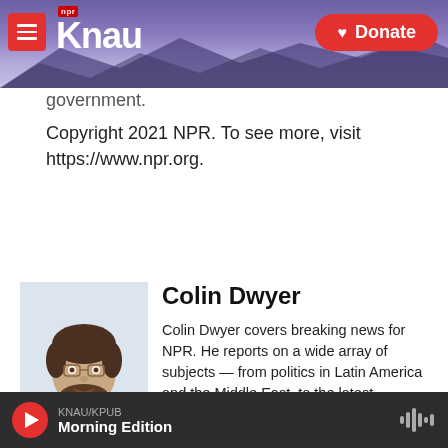[Figure (screenshot): KNAU NPR radio station website header with logo, hamburger menu, donate button, and mountain landscape background]
government.
Copyright 2021 NPR. To see more, visit https://www.npr.org.
[Figure (other): Social sharing buttons: Facebook, Twitter, LinkedIn, and email]
[Figure (photo): Headshot photo of Colin Dwyer]
Colin Dwyer
Colin Dwyer covers breaking news for NPR. He reports on a wide array of subjects — from politics in Latin America and the Middle East, to the latest developments in art and scientific
KNAU/KPUB Morning Edition